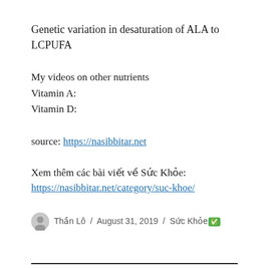Genetic variation in desaturation of ALA to LCPUFA
My videos on other nutrients
Vitamin A:
Vitamin D:
source: https://nasibbitar.net
Xem thêm các bài viết về Sức Khỏe:
https://nasibbitar.net/category/suc-khoe/
Thần Lô / August 31, 2019 / Sức Khỏe✅